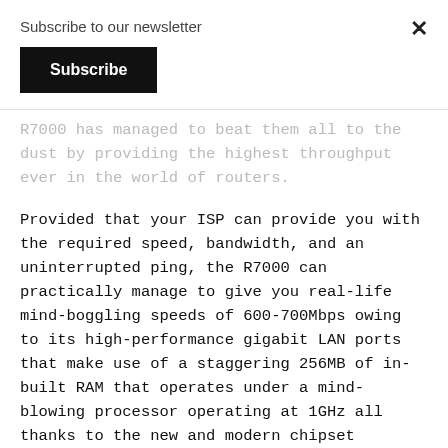Subscribe to our newsletter
Subscribe
R7000 has managed to beat them all to the dust by providing the highest throughput ever in the world of routers.
Provided that your ISP can provide you with the required speed, bandwidth, and an uninterrupted ping, the R7000 can practically manage to give you real-life mind-boggling speeds of 600-700Mbps owing to its high-performance gigabit LAN ports that make use of a staggering 256MB of in-built RAM that operates under a mind-blowing processor operating at 1GHz all thanks to the new and modern chipset carried by the R7000.